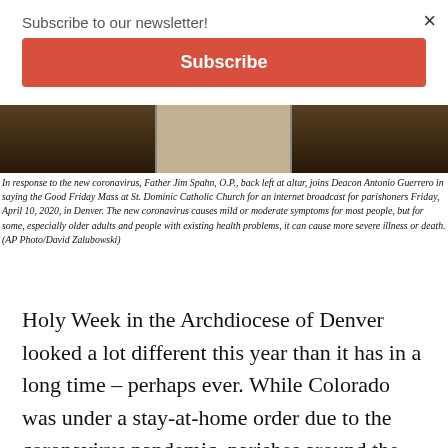Subscribe to our newsletter!
Subscribe
[Figure (photo): Partial view of church interior showing altar area with dark wooden furnishings]
In response to the new coronavirus, Father Jim Spahn, O.P., back left at altar, joins Deacon Antonio Guerrero in saying the Good Friday Mass at St. Dominic Catholic Church for an internet broadcast for parishoners Friday, April 10, 2020, in Denver. The new coronavirus causes mild or moderate symptoms for most people, but for some, especially older adults and people with existing health problems, it can cause more severe illness or death. (AP Photo/David Zalubowski)
Holy Week in the Archdiocese of Denver looked a lot different this year than it has in a long time – perhaps ever. While Colorado was under a stay-at-home order due to the coronavirus pandemic, parishes around the archdiocese broadcasted their Good Friday and Easter Sunday liturgies over the internet for the faithful to